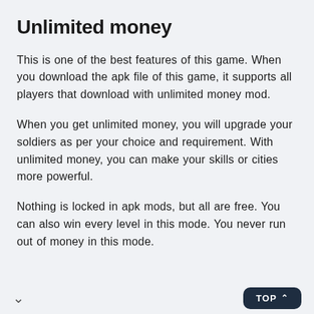Unlimited money
This is one of the best features of this game. When you download the apk file of this game, it supports all players that download with unlimited money mod.
When you get unlimited money, you will upgrade your soldiers as per your choice and requirement. With unlimited money, you can make your skills or cities more powerful.
Nothing is locked in apk mods, but all are free. You can also win every level in this mode. You never run out of money in this mode.
∨   TOP ∧